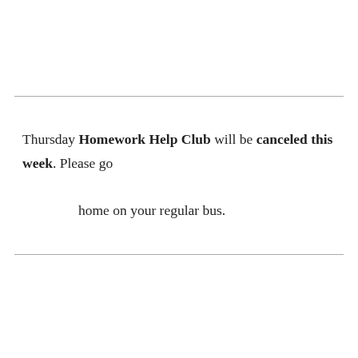Thursday Homework Help Club will be canceled this week. Please go home on your regular bus.